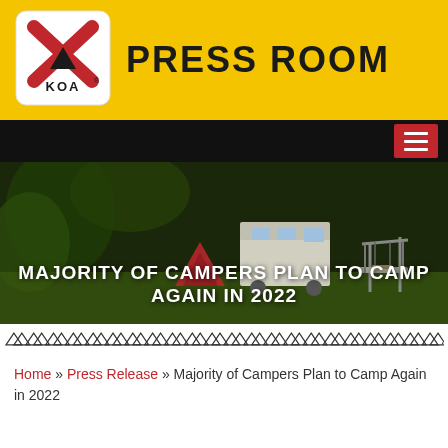[Figure (logo): KOA Kampgrounds of America logo with red X and tent symbol inside white rounded square on yellow background, with PRESS ROOM text]
PRESS ROOM
[Figure (photo): Campground scene with greenery, RV camper, tent, and playground equipment. Overlaid text reads: MAJORITY OF CAMPERS PLAN TO CAMP AGAIN IN 2022]
MAJORITY OF CAMPERS PLAN TO CAMP AGAIN IN 2022
▽△▽△▽△▽△▽△▽△▽△▽△▽△▽△▽△▽△▽△▽△▽△▽△▽.
Home » Press Release » Majority of Campers Plan to Camp Again in 2022